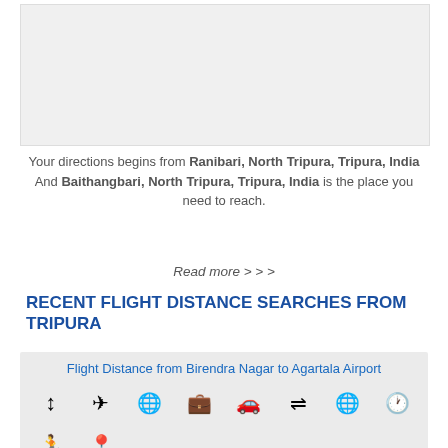[Figure (other): Gray placeholder image area at top]
Your directions begins from Ranibari, North Tripura, Tripura, India And Baithangbari, North Tripura, Tripura, India is the place you need to reach.
Read more > > >
RECENT FLIGHT DISTANCE SEARCHES FROM TRIPURA
Flight Distance from Birendra Nagar to Agartala Airport
[Figure (infographic): Row of travel icons: up-down arrow, airplane, globe, luggage, car, exchange arrows, world/grid globe, clock, running person, map pin]
Flight Distance from Birendra Nagar to Agartala College
[Figure (infographic): Row of travel icons: up-down arrow, airplane, globe, luggage, car, exchange arrows, world/grid globe, clock (partially visible)]